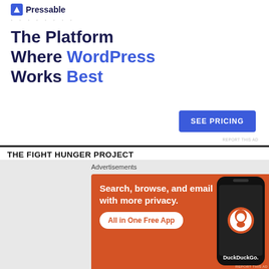[Figure (screenshot): Pressable hosting ad with logo, dots decoration, headline 'The Platform Where WordPress Works Best', and blue SEE PRICING button]
REPORT THIS AD
THE FIGHT HUNGER PROJECT
[Figure (logo): Partial green arc logo for The Fight Hunger Project]
[Figure (screenshot): DuckDuckGo advertisement: 'Search, browse, and email with more privacy. All in One Free App' with phone image and DuckDuckGo logo]
Advertisements